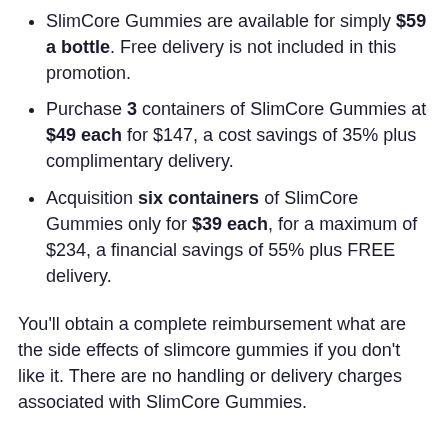SlimCore Gummies are available for simply $59 a bottle. Free delivery is not included in this promotion.
Purchase 3 containers of SlimCore Gummies at $49 each for $147, a cost savings of 35% plus complimentary delivery.
Acquisition six containers of SlimCore Gummies only for $39 each, for a maximum of $234, a financial savings of 55% plus FREE delivery.
You'll obtain a complete reimbursement what are the side effects of slimcore gummies if you don't like it. There are no handling or delivery charges associated with SlimCore Gummies.